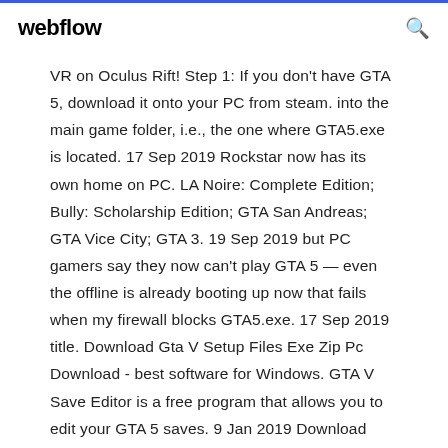webflow
VR on Oculus Rift! Step 1: If you don't have GTA 5, download it onto your PC from steam. into the main game folder, i.e., the one where GTA5.exe is located. 17 Sep 2019 Rockstar now has its own home on PC. LA Noire: Complete Edition; Bully: Scholarship Edition; GTA San Andreas; GTA Vice City; GTA 3. 19 Sep 2019 but PC gamers say they now can't play GTA 5 — even the offline is already booting up now that fails when my firewall blocks GTA5.exe. 17 Sep 2019 title. Download Gta V Setup Files Exe Zip Pc Download - best software for Windows. GTA V Save Editor is a free program that allows you to edit your GTA 5 saves. 9 Jan 2019 Download Grand Theft Auto V: The Manual (2019) for